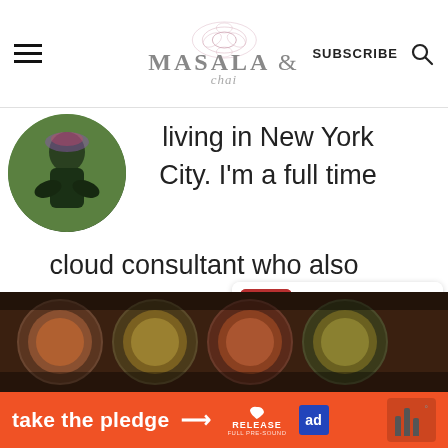MASALA & chai — SUBSCRIBE
[Figure (photo): Circular profile photo of a person outdoors in nature with green background]
living in New York City. I'm a full time cloud consultant who also enjoys eating out at restaurants, discovering and supporting small business, and cozying up with a cup of chai.
[Figure (infographic): What's Next panel with strawberry thumbnail and text: Watermelon Rose Cooler]
[Figure (photo): Food/spices photo showing bowls of various spices from above]
[Figure (infographic): Ad banner: take the pledge → RELEASE logo with heart, ed logo, and sound bars]